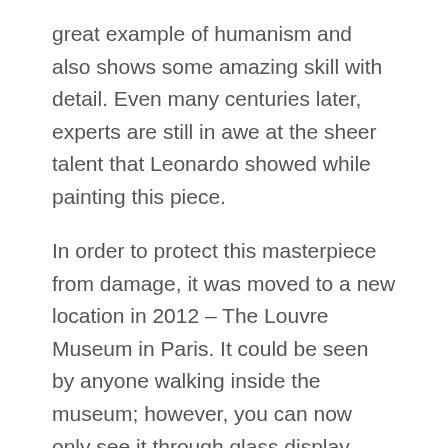great example of humanism and also shows some amazing skill with detail. Even many centuries later, experts are still in awe at the sheer talent that Leonardo showed while painting this piece.
In order to protect this masterpiece from damage, it was moved to a new location in 2012 – The Louvre Museum in Paris. It could be seen by anyone walking inside the museum; however, you can now only see it through glass display cases which are placed
The Mona Lisa, or La Gioconda as Leonardo da Vinci called it, is the most famous painting on the planet. For over 500 years audiences and art critics have been in awe of this painting that is in the Louvre in